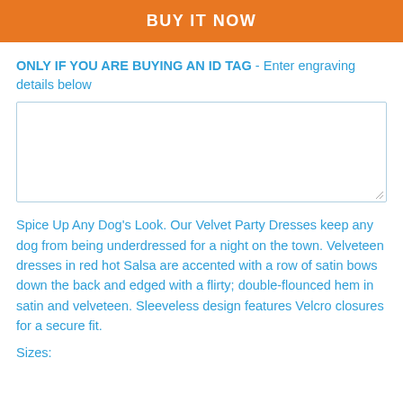BUY IT NOW
ONLY IF YOU ARE BUYING AN ID TAG - Enter engraving details below
[Figure (other): Empty textarea input field for engraving details]
Spice Up Any Dog's Look. Our Velvet Party Dresses keep any dog from being underdressed for a night on the town. Velveteen dresses in red hot Salsa are accented with a row of satin bows down the back and edged with a flirty; double-flounced hem in satin and velveteen. Sleeveless design features Velcro closures for a secure fit.
Sizes: